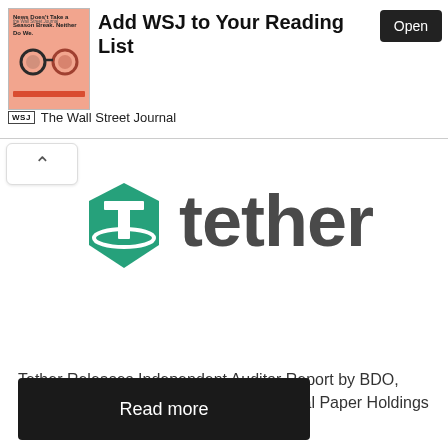[Figure (screenshot): WSJ app banner ad showing book cover and 'Add WSJ to Your Reading List' heading with Open button and The Wall Street Journal logo]
[Figure (logo): Tether logo: green hexagonal shield with T symbol and the word 'tether' in dark gray]
Tether Releases Independent Auditor Report by BDO, Reveals another Major Cut in Commercial Paper Holdings Stablecoin issuer Tether, on Friday, ...
[Figure (screenshot): Read more button — dark/black rounded rectangle with white text 'Read more']